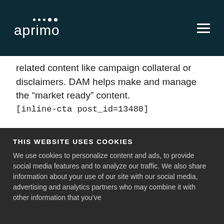aprimo
related content like campaign collateral or disclaimers. DAM helps make and manage the “market ready” content.
[inline-cta post_id=13480]
Do You Need Both PIM and DAM?
THIS WEBSITE USES COOKIES
We use cookies to personalize content and ads, to provide social media features and to analyze our traffic. We also share information about your use of our site with our social media, advertising and analytics partners who may combine it with other information that you’ve